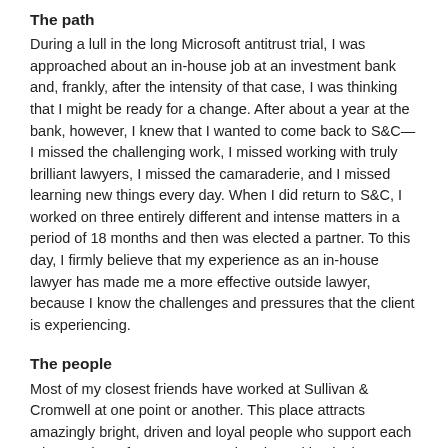The path
During a lull in the long Microsoft antitrust trial, I was approached about an in-house job at an investment bank and, frankly, after the intensity of that case, I was thinking that I might be ready for a change. After about a year at the bank, however, I knew that I wanted to come back to S&C—I missed the challenging work, I missed working with truly brilliant lawyers, I missed the camaraderie, and I missed learning new things every day. When I did return to S&C, I worked on three entirely different and intense matters in a period of 18 months and then was elected a partner. To this day, I firmly believe that my experience as an in-house lawyer has made me a more effective outside lawyer, because I know the challenges and pressures that the client is experiencing.
The people
Most of my closest friends have worked at Sullivan & Cromwell at one point or another. This place attracts amazingly bright, driven and loyal people who support each other, and you form very strong bonds working in the trenches with them. I go on vacations and spend weekends with them. My view is that, if you're going to spend 40 years in one place working the hours we do, you'd better like the people you work with.